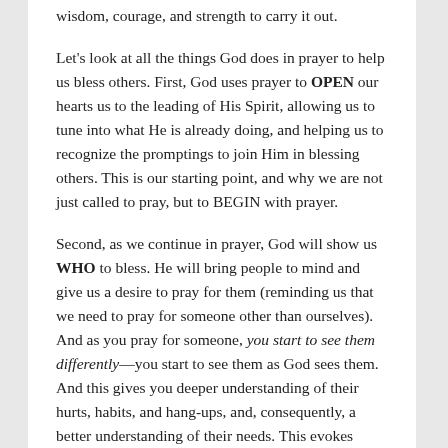wisdom, courage, and strength to carry it out.
Let's look at all the things God does in prayer to help us bless others. First, God uses prayer to OPEN our hearts us to the leading of His Spirit, allowing us to tune into what He is already doing, and helping us to recognize the promptings to join Him in blessing others. This is our starting point, and why we are not just called to pray, but to BEGIN with prayer.
Second, as we continue in prayer, God will show us WHO to bless. He will bring people to mind and give us a desire to pray for them (reminding us that we need to pray for someone other than ourselves). And as you pray for someone, you start to see them differently—you start to see them as God sees them. And this gives you deeper understanding of their hurts, habits, and hang-ups, and, consequently, a better understanding of their needs. This evokes compassion and empowers us to listen to them without judgement (which is our topic for next week). As we see them from God's perspective through the eyes of compassion, God cultivates a desire to want to bless